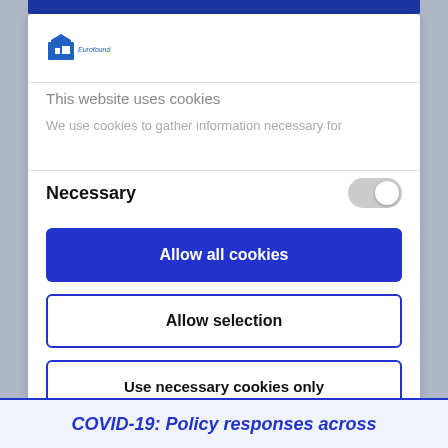[Figure (logo): Eurofound logo - small blue building/house icon with text 'Eurofound' below]
This website uses cookies
We use cookies to gather information necessary for
Necessary
Allow all cookies
Allow selection
Use necessary cookies only
Powered by Cookiebot by Usercentrics
COVID-19: Policy responses across